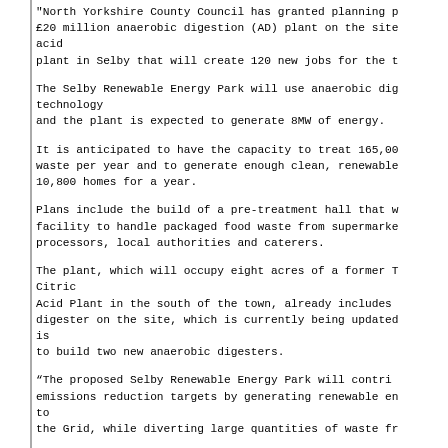"North Yorkshire County Council has granted planning permission for a £20 million anaerobic digestion (AD) plant on the site of a former citric acid plant in Selby that will create 120 new jobs for the town.
The Selby Renewable Energy Park will use anaerobic digestion technology and the plant is expected to generate 8MW of energy.
It is anticipated to have the capacity to treat 165,000 tonnes of waste per year and to generate enough clean, renewable electricity for 10,800 homes for a year.
Plans include the build of a pre-treatment hall that will include a facility to handle packaged food waste from supermarkets, food processors, local authorities and caterers.
The plant, which will occupy eight acres of a former Tate & Lyle Citric Acid Plant in the south of the town, already includes an anaerobic digester on the site, which is currently being updated. The plan is to build two new anaerobic digesters.
“The proposed Selby Renewable Energy Park will contribute to our emissions reduction targets by generating renewable energy and exporting to the Grid, while diverting large quantities of waste fr